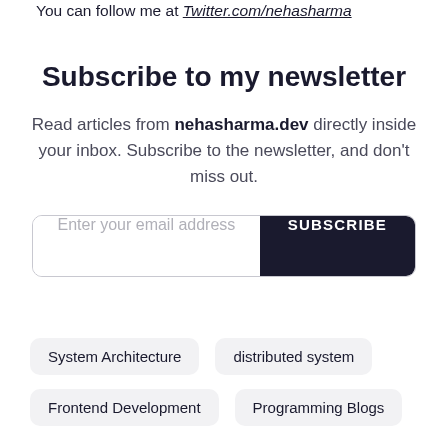You can follow me at Twitter.com/nehasharma
Subscribe to my newsletter
Read articles from nehasharma.dev directly inside your inbox. Subscribe to the newsletter, and don't miss out.
[Figure (screenshot): Email subscription form with an input field labeled 'Enter your email address' and a dark 'SUBSCRIBE' button]
System Architecture
distributed system
Frontend Development
Programming Blogs